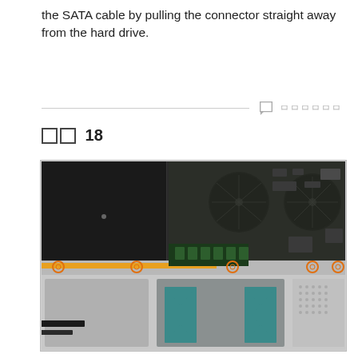the SATA cable by pulling the connector straight away from the hard drive.
단계 18
[Figure (photo): Interior view of an iMac showing the logic board with two cooling fans, RAM slots with green memory modules, a hard drive bay area with teal pads, and several circled screws highlighted in orange. The left side shows the hard drive/optical drive bays.]